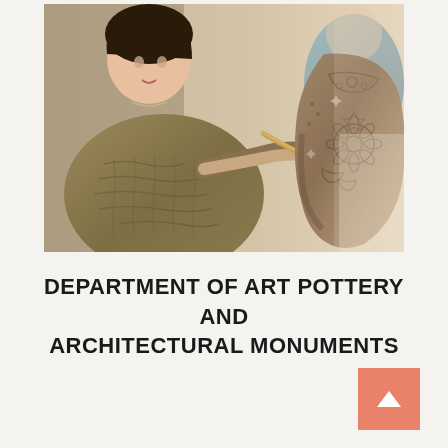[Figure (photo): A young woman in a knitted sweater carving decorative floral patterns into a clay pottery vessel using a wooden tool. The pottery has intricate relief designs. Another person is partially visible in the background.]
DEPARTMENT OF ART POTTERY AND ARCHITECTURAL MONUMENTS